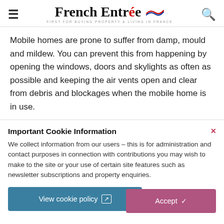French Entrée – FIRST FOR BUYING PROPERTY & LIVING IN FRANCE
Mobile homes are prone to suffer from damp, mould and mildew. You can prevent this from happening by opening the windows, doors and skylights as often as possible and keeping the air vents open and clear from debris and blockages when the mobile home is in use.
Important Cookie Information
We collect information from our users – this is for administration and contact purposes in connection with contributions you may wish to make to the site or your use of certain site features such as newsletter subscriptions and property enquiries.
View cookie policy
Accept